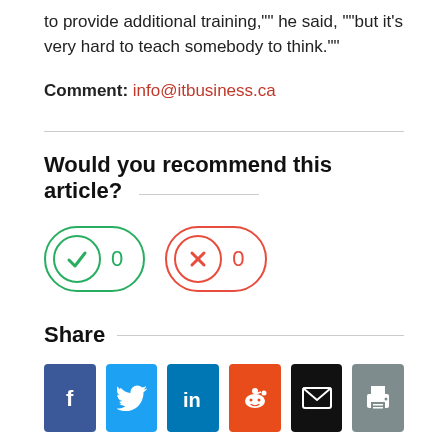to provide additional training,"" he said, ""but it's very hard to teach somebody to think.""
Comment: info@itbusiness.ca
Would you recommend this article?
[Figure (infographic): Two vote buttons: a green checkmark button with count 0, and a red X button with count 0]
Share
[Figure (infographic): Six social share buttons: Facebook (blue f), Twitter (blue bird), LinkedIn (blue in), Reddit (orange alien), Email (black envelope), Print (grey printer)]